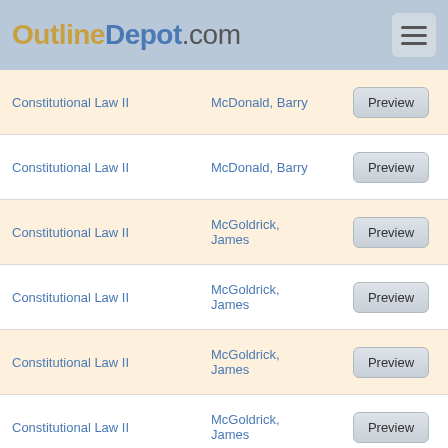[Figure (logo): OutlineDepot.com logo with hamburger menu]
| Course | Author | Action |
| --- | --- | --- |
| Constitutional Law II | McDonald, Barry | Preview |
| Constitutional Law II | McDonald, Barry | Preview |
| Constitutional Law II | McGoldrick, James | Preview |
| Constitutional Law II | McGoldrick, James | Preview |
| Constitutional Law II | McGoldrick, James | Preview |
| Constitutional Law II | McGoldrick, James | Preview |
| Constitutional Law II | McGoldrick, James | Preview |
| Constitutional Law II | Pushaw, Robert | Preview |
| Constitutional Law II | Pushaw, Robert | Preview |